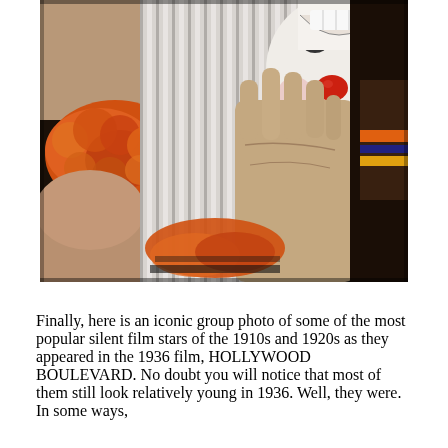[Figure (photo): Close-up photo of two people in clown costumes. One clown has a white face with a red nose and open smiling mouth showing teeth, wearing a large pleated white/grey striped ruffled collar. The other figure shows an orange ruffled collar. A hand is raised in the foreground. The image is in color with dark background.]
Finally, here is an iconic group photo of some of the most popular silent film stars of the 1910s and 1920s as they appeared in the 1936 film, HOLLYWOOD BOULEVARD. No doubt you will notice that most of them still look relatively young in 1936. Well, they were. In some ways,